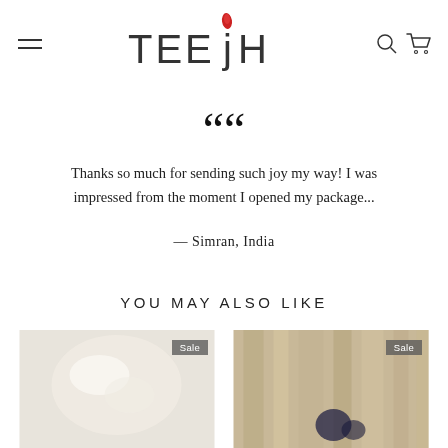TEEJH — navigation header with hamburger menu, logo, search and cart icons
““
Thanks so much for sending such joy my way! I was impressed from the moment I opened my package...
— Simran, India
YOU MAY ALSO LIKE
[Figure (photo): Product photo with Sale badge — light/white jewelry or textile item on white background]
[Figure (photo): Product photo with Sale badge — woven basket/textile item with dark accents on neutral background]